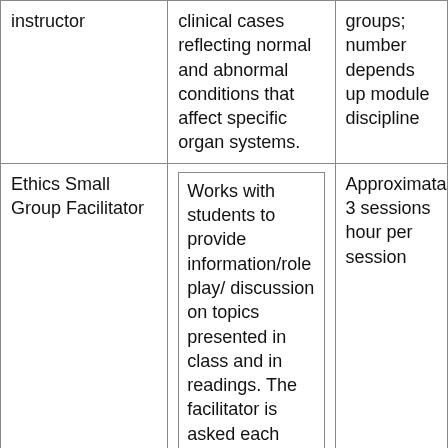| Role | Description | Time Commitment |
| --- | --- | --- |
| instructor | clinical cases reflecting normal and abnormal conditions that affect specific organ systems. | groups; number depends up module discipline |
| Ethics Small Group Facilitator | Works with students to provide information/role play/ discussion on topics presented in class and in readings. The facilitator is asked each week to read the required | Approximata 3 sessions hour per session |